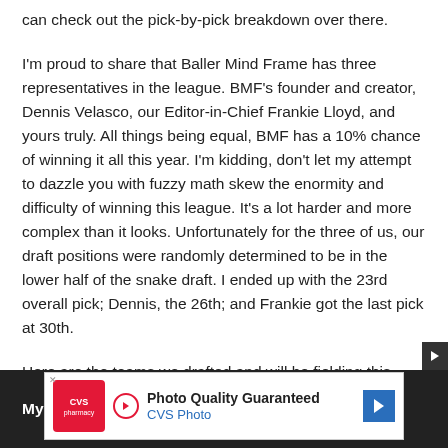can check out the pick-by-pick breakdown over there.
I'm proud to share that Baller Mind Frame has three representatives in the league. BMF's founder and creator, Dennis Velasco, our Editor-in-Chief Frankie Lloyd, and yours truly. All things being equal, BMF has a 10% chance of winning it all this year. I'm kidding, don't let my attempt to dazzle you with fuzzy math skew the enormity and difficulty of winning this league. It's a lot harder and more complex than it looks. Unfortunately for the three of us, our draft positions were randomly determined to be in the lower half of the snake draft. I ended up with the 23rd overall pick; Dennis, the 26th; and Frankie got the last pick at 30th.
Here are the teams we drafted and will be fielding this season:
My Te...
[Figure (other): CVS Photo advertisement banner: Photo Quality Guaranteed, CVS Photo, with CVS pharmacy logo and blue diamond arrow icon]